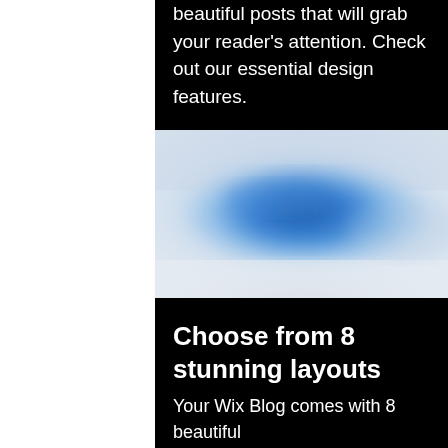beautiful posts that will grab your reader's attention. Check out our essential design features.
[Figure (photo): Blurred abstract image with blue and white tones, resembling a sky or water scene with soft gradients.]
Choose from 8 stunning layouts
Your Wix Blog comes with 8 beautiful